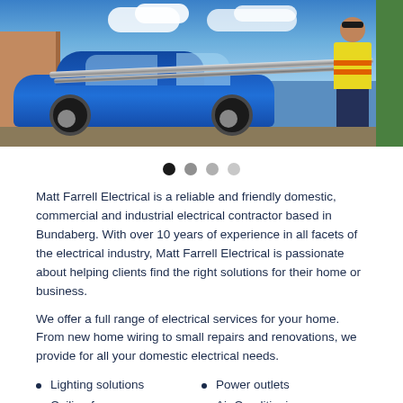[Figure (photo): A blue car with a roof rack/pipes on top. A worker in a yellow high-visibility shirt and sunglasses stands beside it. Background includes a wooden fence, buildings, and a blue sky with clouds.]
Matt Farrell Electrical is a reliable and friendly domestic, commercial and industrial electrical contractor based in Bundaberg. With over 10 years of experience in all facets of the electrical industry, Matt Farrell Electrical is passionate about helping clients find the right solutions for their home or business.
We offer a full range of electrical services for your home. From new home wiring to small repairs and renovations, we provide for all your domestic electrical needs.
Lighting solutions
Power outlets
Ceiling fans
Air Conditioning